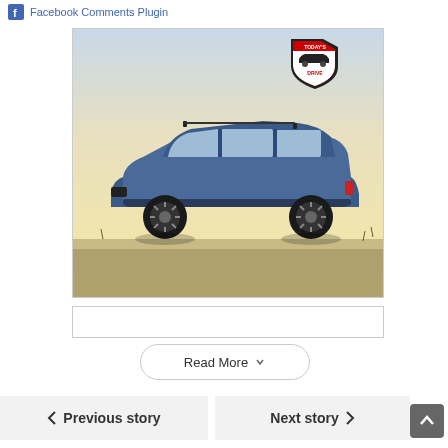Facebook Comments Plugin
[Figure (photo): Blue Subaru XV/Crosstrek crossover SUV parked on grassy terrain with a pale yellow/gradient sky in the background. A 'Today's Drive' badge logo in the upper right corner of the image.]
Read More
Previous story
Next story